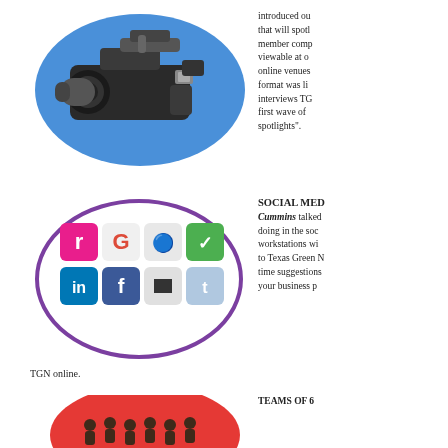[Figure (illustration): Video camera on a blue oval background]
introduced ou that will spotl member comp viewable at o online venues format was li interviews TG first wave of spotlights".
[Figure (illustration): Social media icons (Google+, Twitter, LinkedIn, Facebook, Delicious, etc.) arranged in an oval with purple border]
SOCIAL MED Cummins talked doing in the soc workstations wi to Texas Green time suggestions your business p
TGN online.
[Figure (illustration): Red oval with silhouettes of people representing teams of 6]
TEAMS OF 6